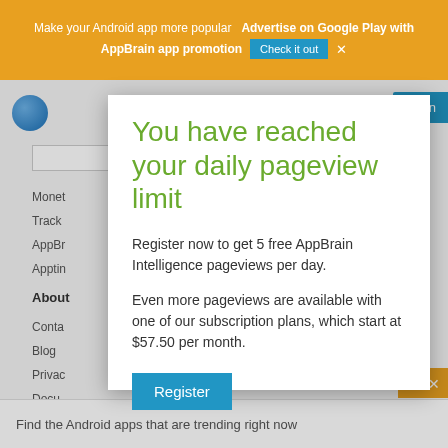Make your Android app more popular  Advertise on Google Play with AppBrain app promotion  Check it out  ×
You have reached your daily pageview limit
Register now to get 5 free AppBrain Intelligence pageviews per day.
Even more pageviews are available with one of our subscription plans, which start at $57.50 per month.
Register
Are you the developer of this app? Claim your app to get free and unrestricted access to your app and developer data.
Find the Android apps that are trending right now